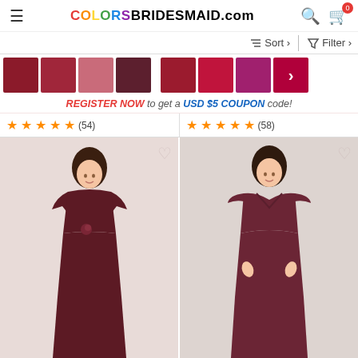COLORSBRIDESMAID.com
Sort  Filter
[Figure (screenshot): Row of 8 color swatches in shades of red, burgundy, pink, mauve, crimson, magenta, with an arrow on the last swatch]
REGISTER NOW to get a USD $5 COUPON code!
★★★★★ (54)    ★★★★½ (58)
[Figure (photo): Model wearing a dark burgundy/wine floor-length bridesmaid dress with short sleeves, illusion neckline, and flower detail at waist]
[Figure (photo): Model wearing a dark burgundy/wine floor-length bridesmaid dress with off-the-shoulder cap sleeves and V-neckline]